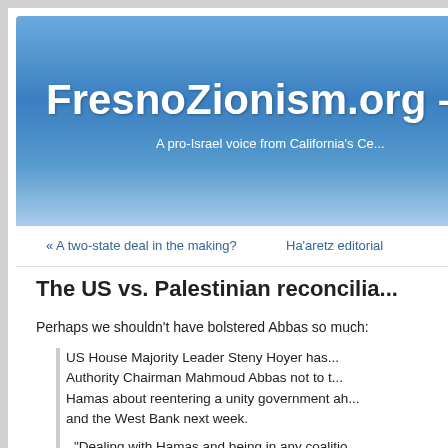FresnoZionism.org – A pro-Israel voice from California's Ce...
« A two-state deal in the making?    Ha'aretz editorial
The US vs. Palestinian reconcilia...
Perhaps we shouldn't have bolstered Abbas so much:
US House Majority Leader Steny Hoyer has... Authority Chairman Mahmoud Abbas not to t... Hamas about reentering a unity government ah... and the West Bank next week.
"Dealing with Hamas and being in any coalitio...